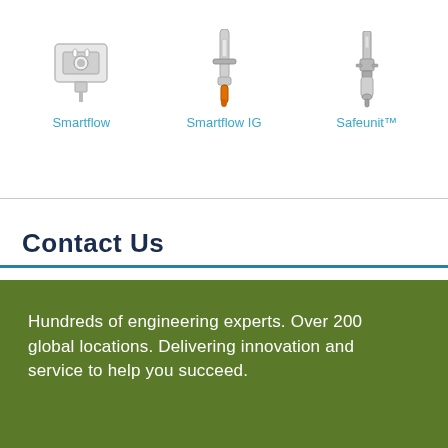[Figure (photo): Three product images shown side by side at the top: Smartflow device (white sensor/meter), Smartflow IG device (orange-tipped tool/probe), and Safeunit™ device (metal sensor/probe assembly).]
Smartflow
Smartflow IG
Safeunit™
Contact Us
Hundreds of engineering experts. Over 200 global locations. Delivering innovation and service to help you succeed.